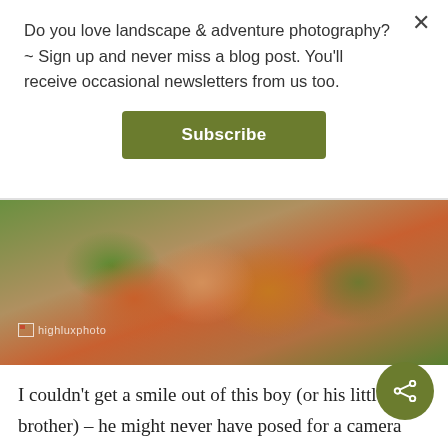Do you love landscape & adventure photography?~ Sign up and never miss a blog post. You'll receive occasional newsletters from us too.
Subscribe
[Figure (photo): Close-up photo of a person wearing a colorful embroidered garment with tattoos visible, outdoors with green background. Watermark reads 'highluxphoto'.]
I couldn't get a smile out of this boy (or his little brother) – he might never have posed for a camera before – but most people here are super friendly. We're getting sore hands from high-fiving the kids as we ride past!